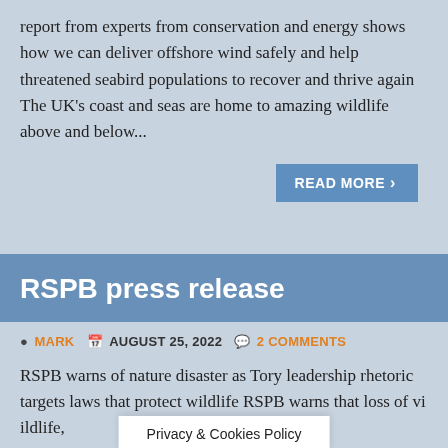report from experts from conservation and energy shows how we can deliver offshore wind safely and help threatened seabird populations to recover and thrive again The UK's coast and seas are home to amazing wildlife above and below...
READ MORE ›
RSPB press release
MARK  AUGUST 25, 2022  2 COMMENTS
RSPB warns of nature disaster as Tory leadership rhetoric targets laws that protect wildlife RSPB warns that loss of vi...ildlife,
Privacy & Cookies Policy